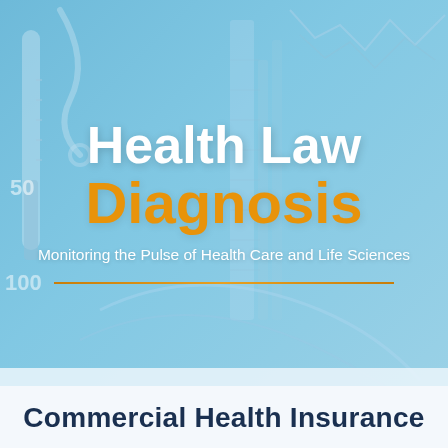[Figure (illustration): Blue-tinted medical and financial background collage showing stethoscope, thermometer, beakers, charts, and data graphs overlaid with light blue wash]
Health Law Diagnosis
Monitoring the Pulse of Health Care and Life Sciences
Commercial Health Insurance